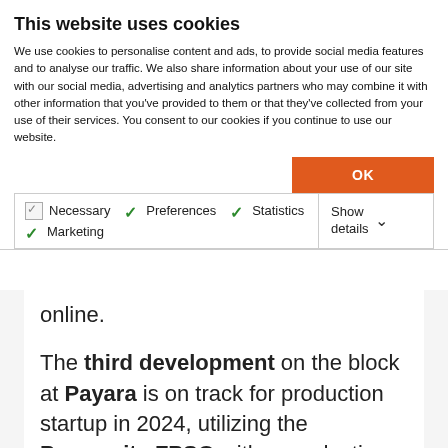This website uses cookies
We use cookies to personalise content and ads, to provide social media features and to analyse our traffic. We also share information about your use of our site with our social media, advertising and analytics partners who may combine it with other information that you’ve provided to them or that they’ve collected from your use of their services. You consent to our cookies if you continue to use our website.
OK
Necessary  Preferences  Statistics  Marketing  Show details
online.
The third development on the block at Payara is on track for production startup in 2024, utilizing the Prosperity FPSO with a production capacity of approximately 220,000 gross barrels of oil per day. As reported last week, the Prosperity FPSO has recently moved onto the topsides integration phase in a shipyard in